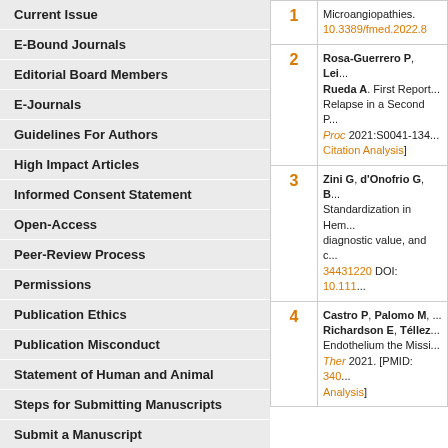Current Issue
E-Bound Journals
Editorial Board Members
E-Journals
Guidelines For Authors
High Impact Articles
Informed Consent Statement
Open-Access
Peer-Review Process
Permissions
Publication Ethics
Publication Misconduct
Statement of Human and Animal
Steps for Submitting Manuscripts
Submit a Manuscript
[Figure (other): QR code on orange background]
| # | Reference |
| --- | --- |
| 1 | Microangiopathies. 10.3389/fmed.2022.8... |
| 2 | Rosa-Guerrero P, Lei... Rueda A. First Report... Relapse in a Second P... Proc 2021:S0041-134... Citation Analysis] |
| 3 | Zini G, d'Onofrio G, B... Standardization in Hem... diagnostic value, and c... 34431220 DOI: 10.111... |
| 4 | Castro P, Palomo M, ... Richardson E, Téllez... Endothelium the Missi... Ther 2021. [PMID: 340... Analysis] |